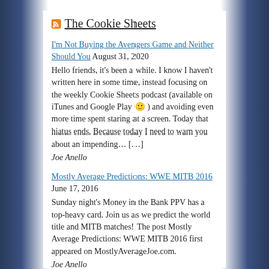The Cookie Sheets
I'm Not Buying the Avengers Game and Neither Should You  August 31, 2020
Hello friends, it's been a while. I know I haven't written here in some time, instead focusing on the weekly Cookie Sheets podcast (available on iTunes and Google Play 🙂 ) and avoiding even more time spent staring at a screen. Today that hiatus ends. Because today I need to warn you about an impending… […]
Joe Anello
Mostly Average Predictions: WWE MITB 2016  June 17, 2016
Sunday night's Money in the Bank PPV has a top-heavy card. Join us as we predict the world title and MITB matches! The post Mostly Average Predictions: WWE MITB 2016 first appeared on MostlyAverageJoe.com.
Joe Anello